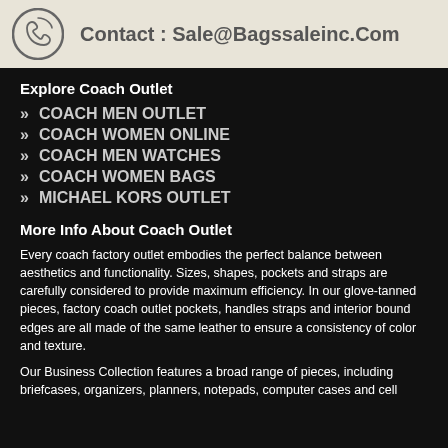Contact : Sale@Bagssaleinc.Com
Explore Coach Outlet
COACH MEN OUTLET
COACH WOMEN ONLINE
COACH MEN WATCHES
COACH WOMEN BAGS
MICHAEL KORS OUTLET
More Info About Coach Outlet
Every coach factory outlet embodies the perfect balance between aesthetics and functionality. Sizes, shapes, pockets and straps are carefully considered to provide maximum efficiency. In our glove-tanned pieces, factory coach outlet pockets, handles straps and interior bound edges are all made of the same leather to ensure a consistency of color and texture.
Our Business Collection features a broad range of pieces, including briefcases, organizers, planners, notepads, computer cases and cell